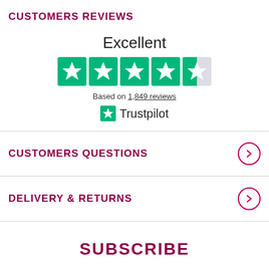CUSTOMERS REVIEWS
[Figure (infographic): Trustpilot rating: Excellent, 4.5 stars out of 5, based on 1,849 reviews, with Trustpilot logo]
CUSTOMERS QUESTIONS
DELIVERY & RETURNS
SUBSCRIBE